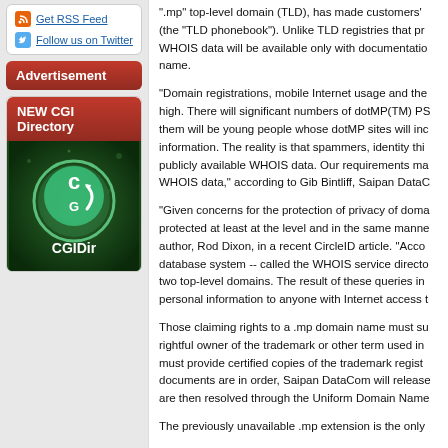Get RSS Feed
Follow us on Twitter
Advertisement
NEW CGI Directory
[Figure (logo): CGIDir logo - green circular design with 'CGIDir' text]
".mp" top-level domain (TLD), has made customers' (the "TLD phonebook"). Unlike TLD registries that pr WHOIS data will be available only with documentation name.
"Domain registrations, mobile Internet usage and the high. There will significant numbers of dotMP(TM) PS them will be young people whose dotMP sites will inc information. The reality is that spammers, identity thi publicly available WHOIS data. Our requirements ma WHOIS data," according to Gib Bintliff, Saipan DataC
"Given concerns for the protection of privacy of doma protected at least at the level and in the same manne author, Rod Dixon, in a recent CircleID article. "Acco database system -- called the WHOIS service directo two top-level domains. The result of these queries in personal information to anyone with Internet access t
Those claiming rights to a .mp domain name must su rightful owner of the trademark or other term used in must provide certified copies of the trademark regist documents are in order, Saipan DataCom will release are then resolved through the Uniform Domain Name
The previously unavailable .mp extension is the only